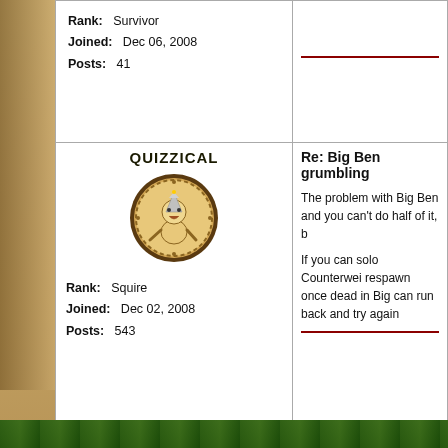Rank: Survivor
Joined: Dec 06, 2008
Posts: 41
QUIZZICAL
[Figure (illustration): Circular avatar with cartoon wizard character on brown parchment background]
Rank: Squire
Joined: Dec 02, 2008
Posts: 543
Re: Big Ben grumbling
The problem with Big Ben and you can't do half of it, b
If you can solo Counterwei respawn once dead in Big can run back and try again
Message Boards Home > Halston's Laboratory
Follow Wizard101 on social!
[Figure (logo): Social media icons: Twitter, Facebook, YouTube, Instagram, TikTok]
[Figure (logo): EV SSL certificate badge]
Free to Play | Kid Safe Game | System Requ
© 2022 KingsIsle Entertainment, Inc. All